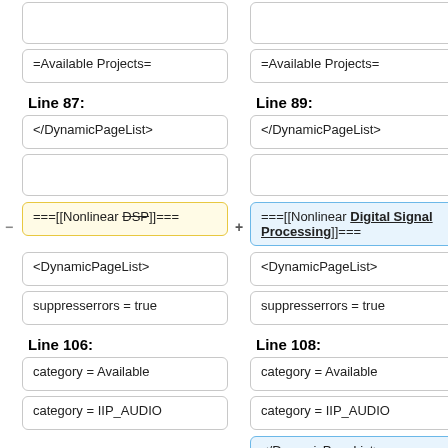=Available Projects=
=Available Projects=
Line 87:
Line 89:
</DynamicPageList>
</DynamicPageList>
===[[Nonlinear DSP]]===
===[[Nonlinear Digital Signal Processing]]===
<DynamicPageList>
<DynamicPageList>
suppresserrors = true
suppresserrors = true
Line 106:
Line 108:
category = Available
category = Available
category = IIP_AUDIO
category = IIP_AUDIO
</DynamicPageList>